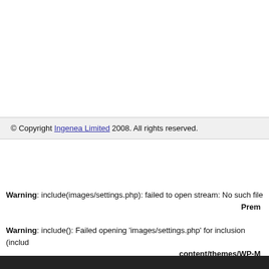© Copyright Ingenea Limited 2008. All rights reserved.
Warning: include(images/settings.php): failed to open stream: No such file … Prem…
Warning: include(): Failed opening 'images/settings.php' for inclusion (includ… content/themes/WP-M…